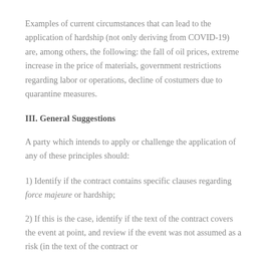Examples of current circumstances that can lead to the application of hardship (not only deriving from COVID-19) are, among others, the following: the fall of oil prices, extreme increase in the price of materials, government restrictions regarding labor or operations, decline of costumers due to quarantine measures.
III. General Suggestions
A party which intends to apply or challenge the application of any of these principles should:
1) Identify if the contract contains specific clauses regarding force majeure or hardship;
2) If this is the case, identify if the text of the contract covers the event at point, and review if the event was not assumed as a risk (in the text of the contract or